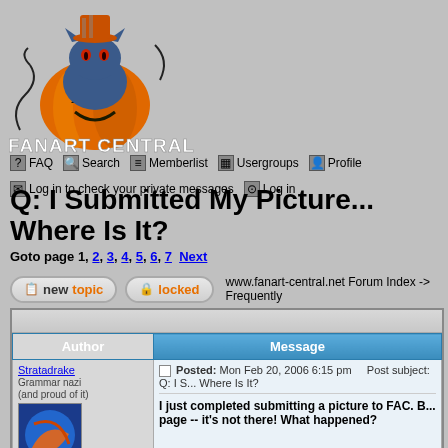[Figure (logo): Fanart Central website logo: a stylized blue cat sitting in a jack-o-lantern pumpkin wearing a hat, with decorative swirls, and text 'FANART CENTRAL' below]
FAQ  Search  Memberlist  Usergroups  Profile  Log in to check your private messages  Log in
Q: I Submitted My Picture... Where Is It?
Goto page 1, 2, 3, 4, 5, 6, 7  Next
new topic  locked  www.fanart-central.net Forum Index -> Frequently
| Author | Message |
| --- | --- |
| Stratadrake
Grammar nazi
(and proud of it)
[avatar]
Joined: 05 May 2004 | Posted: Mon Feb 20, 2006 6:15 pm    Post subject: Q: I S... Where Is It?

I just completed submitting a picture to FAC. B... page -- it's not there! What happened? |